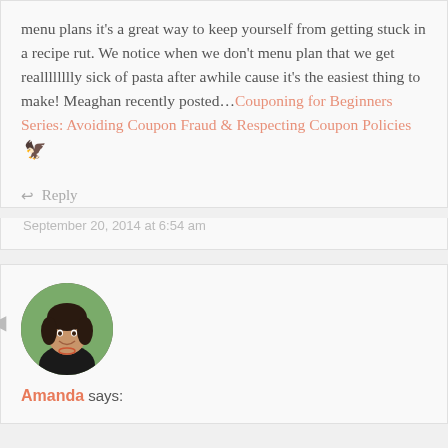menu plans it's a great way to keep yourself from getting stuck in a recipe rut. We notice when we don't menu plan that we get realllllllly sick of pasta after awhile cause it's the easiest thing to make! Meaghan recently posted…Couponing for Beginners Series: Avoiding Coupon Fraud & Respecting Coupon Policies
↩ Reply
September 20, 2014 at 6:54 am
[Figure (photo): Circular avatar photo of a woman with dark hair, smiling, wearing a black top, outdoors with green background]
Amanda says: